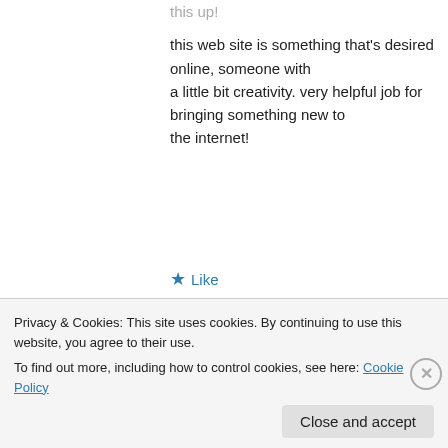this web site is something that's desired online, someone with a little bit creativity. very helpful job for bringing something new to the internet!
★ Like
↳ Reply
http://helmyhashim.com on May 31, 2015 at 12:41
Privacy & Cookies: This site uses cookies. By continuing to use this website, you agree to their use.
To find out more, including how to control cookies, see here: Cookie Policy
Close and accept